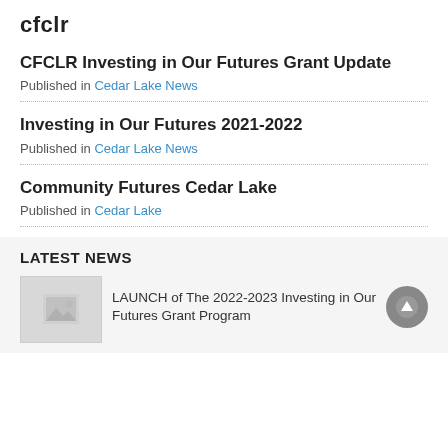cfclr
CFCLR Investing in Our Futures Grant Update
Published in Cedar Lake News
Investing in Our Futures 2021-2022
Published in Cedar Lake News
Community Futures Cedar Lake
Published in Cedar Lake
LATEST NEWS
LAUNCH of The 2022-2023 Investing in Our Futures Grant Program